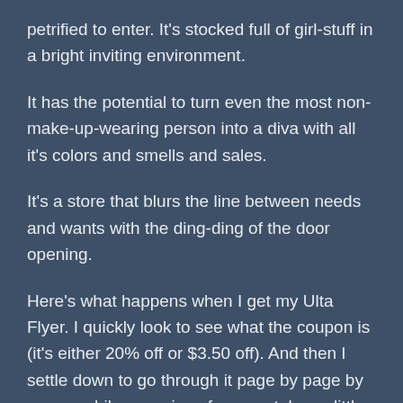petrified to enter.  It's stocked full of girl-stuff in a bright inviting environment.
It has the potential to turn even the most non-make-up-wearing person into a diva with all it's colors and smells and sales.
It's a store that blurs the line between needs and wants with the ding-ding of the door opening.
Here's what happens when I get my Ulta Flyer.  I quickly look to see what the coupon is (it's either 20% off or $3.50 off).  And then I settle down to go through it page by page by page…while my voice of reason takes a little time off.
In this week's flyer?  For only $14.99, a 92-Piece